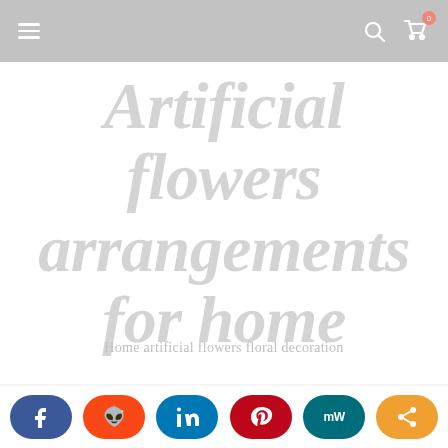≡  🔍  🛒
Artificial flowers arrangements for home
Home artificial flowers floral decoration
≡ NAVIGATION
Home / Basics of flower arranging / 5 Principles of Flower Arrangement Composition
[Figure (illustration): Social share buttons: Facebook, Reddit, LinkedIn, Pinterest, MomWeekly, Share]